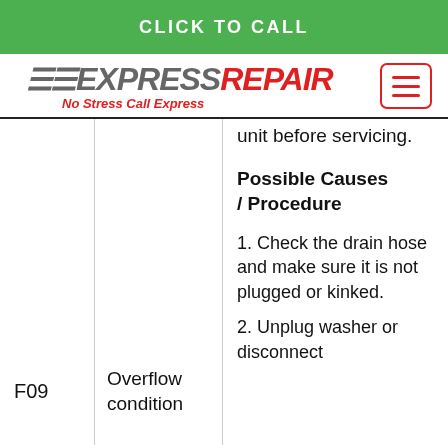CLICK TO CALL
[Figure (logo): Express Repair logo with tagline 'No Stress Call Express' and hamburger menu button]
unit before servicing.
Possible Causes / Procedure
1. Check the drain hose and make sure it is not plugged or kinked.
2. Unplug washer or disconnect
| Code | Description | Info |
| --- | --- | --- |
| F09 | Overflow condition |  |